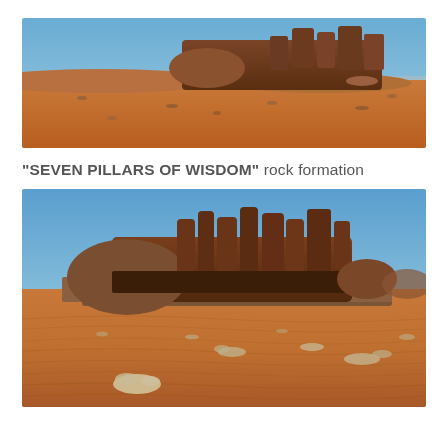[Figure (photo): Panoramic photograph of desert landscape with red sand and a rocky mountain formation (Seven Pillars of Wisdom) in the background under a clear blue sky, viewed from a distance.]
“SEVEN PILLARS OF WISDOM” rock formation
[Figure (photo): Closer photograph of the Seven Pillars of Wisdom rock formation at Wadi Rum, Jordan, showing distinctive tall sandstone pillars rising above a broad rocky base, with rippled red sand dunes and sparse desert scrub in the foreground under a blue sky.]